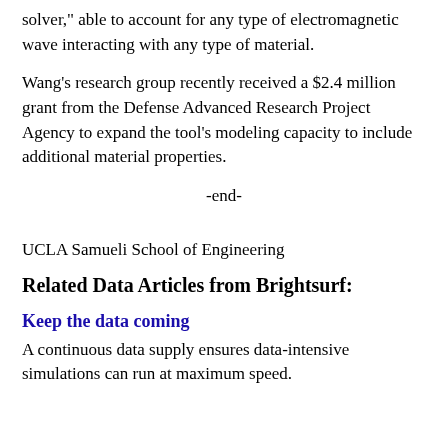solver," able to account for any type of electromagnetic wave interacting with any type of material.
Wang's research group recently received a $2.4 million grant from the Defense Advanced Research Project Agency to expand the tool's modeling capacity to include additional material properties.
-end-
UCLA Samueli School of Engineering
Related Data Articles from Brightsurf:
Keep the data coming
A continuous data supply ensures data-intensive simulations can run at maximum speed.